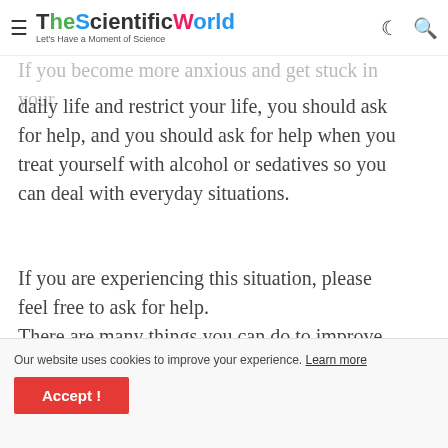TheScientificWorld — Let's Have a Moment of Science
If you become more anxious and get stuck in your daily life and restrict your life, you should ask for help, and you should ask for help when you treat yourself with alcohol or sedatives so you can deal with everyday situations.
If you are experiencing this situation, please feel free to ask for help.
There are many things you can do to improve your condition, and the first step is to ask for care.
What help can you receive?
Our website uses cookies to improve your experience. Learn more
Accept !